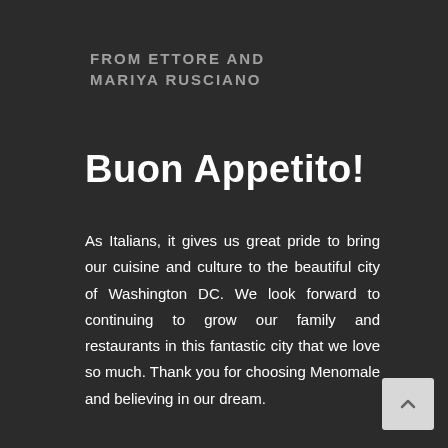FROM ETTORE AND MARIYA RUSCIANO
Buon Appetito!
As Italians, it gives us great pride to bring our cuisine and culture to the beautiful city of Washington DC. We look forward to continuing to grow our family and restaurants in this fantastic city that we love so much. Thank you for choosing Menomale and believing in our dream.